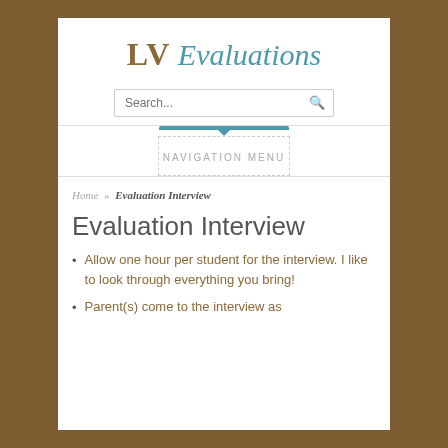LV Evaluations
Search...
NAVIGATION MENU
Home » Evaluation Interview
Evaluation Interview
Allow one hour per student for the interview. I like to look through everything you bring!
Parent(s) come to the interview as